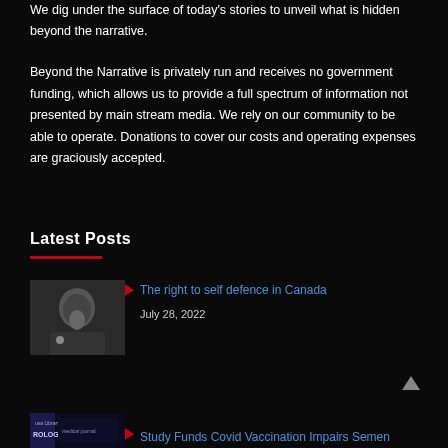We dig under the surface of today's stories to unveil what is hidden beyond the narrative.
Beyond the Narrative is privately run and receives no government funding, which allows us to provide a full spectrum of information not presented by main stream media. We rely on our community to be able to operate. Donations to cover our costs and operating expenses are graciously accepted.
Latest Posts
[Figure (photo): Photo of a person at a microphone, possibly a politician]
► The right to self defence in Canada
July 28, 2022
[Figure (photo): Book or medical journal cover with text OROLOGY visible]
► Study Funds Covid Vaccination Impairs Semen